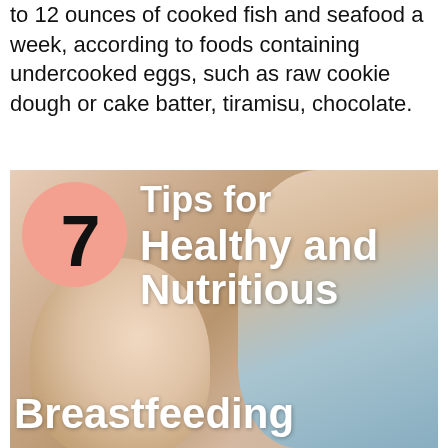to 12 ounces of cooked fish and seafood a week, according to foods containing undercooked eggs, such as raw cookie dough or cake batter, tiramisu, chocolate.
[Figure (infographic): Photo of a mother breastfeeding a baby with overlay text reading '7 Tips for Healthy and Nutritious Breastfeeding'. A salmon-pink circle contains the bold number 7.]